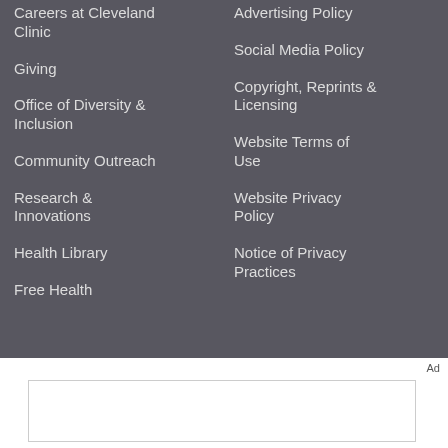Careers at Cleveland Clinic
Advertising Policy
Giving
Social Media Policy
Office of Diversity & Inclusion
Copyright, Reprints & Licensing
Community Outreach
Website Terms of Use
Research & Innovations
Website Privacy Policy
Health Library
Notice of Privacy Practices
Free Health
Ad
[Figure (other): Empty advertisement box placeholder]